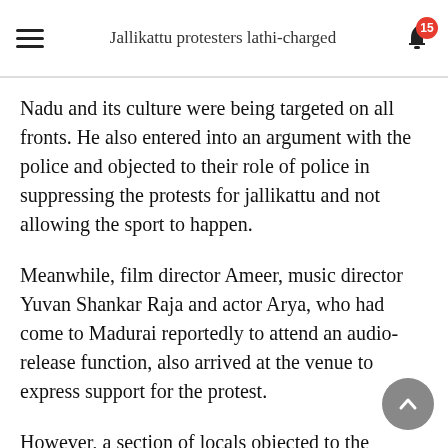Jallikattu protesters lathi-charged
Nadu and its culture were being targeted on all fronts. He also entered into an argument with the police and objected to their role of police in suppressing the protests for jallikattu and not allowing the sport to happen.
Meanwhile, film director Ameer, music director Yuvan Shankar Raja and actor Arya, who had come to Madurai reportedly to attend an audio-release function, also arrived at the venue to express support for the protest.
However, a section of locals objected to the presence of Arya as he had allegedly made some remarks against jallikattu earlier in social media. Though Ameer tried to pacify them, the locals became more vocal in